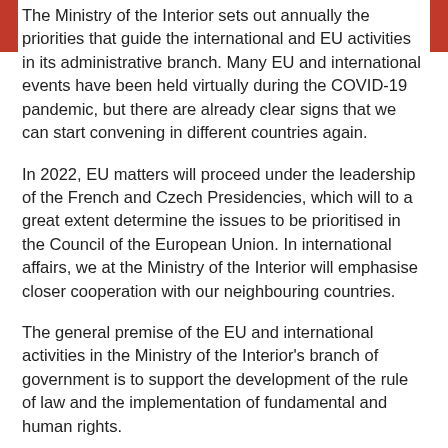The Ministry of the Interior sets out annually the priorities that guide the international and EU activities in its administrative branch. Many EU and international events have been held virtually during the COVID-19 pandemic, but there are already clear signs that we can start convening in different countries again.
In 2022, EU matters will proceed under the leadership of the French and Czech Presidencies, which will to a great extent determine the issues to be prioritised in the Council of the European Union. In international affairs, we at the Ministry of the Interior will emphasise closer cooperation with our neighbouring countries.
The general premise of the EU and international activities in the Ministry of the Interior's branch of government is to support the development of the rule of law and the implementation of fundamental and human rights.